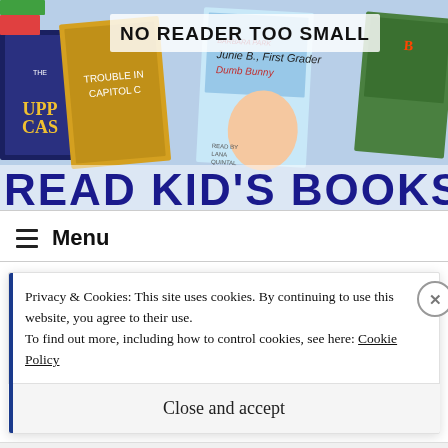[Figure (photo): Banner image showing children's book covers arranged as a collage with text 'NO READER TOO SMALL' at top and 'READ KID'S BOOKS' in large dark blue text at the bottom]
Menu
Privacy & Cookies: This site uses cookies. By continuing to use this website, you agree to their use.
To find out more, including how to control cookies, see here: Cookie Policy
Close and accept